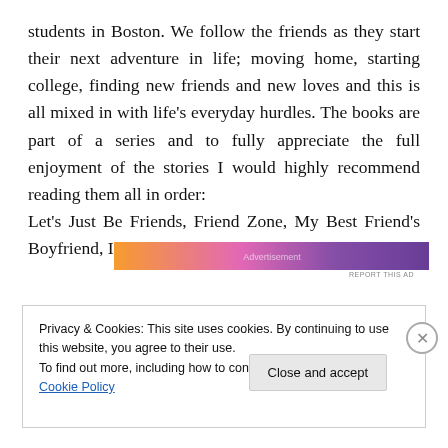students in Boston. We follow the friends as they start their next adventure in life; moving home, starting college, finding new friends and new loves and this is all mixed in with life's everyday hurdles. The books are part of a series and to fully appreciate the full enjoyment of the stories I would highly recommend reading them all in order: Let's Just Be Friends, Friend Zone, My Best Friend's Boyfriend, I Don't Want to be Friends.
[Figure (other): Horizontal advertisement banner with orange-to-purple gradient and decorative imagery]
Privacy & Cookies: This site uses cookies. By continuing to use this website, you agree to their use.
To find out more, including how to control cookies, see here: Cookie Policy
Close and accept